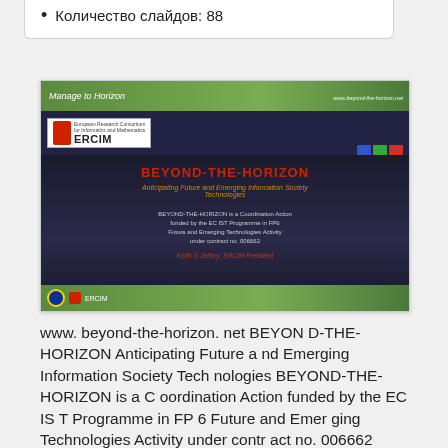Количество слайдов: 88
[Figure (screenshot): Screenshot of BEYOND-THE-HORIZON presentation slide showing ERCIM logo, title 'BEYOND-THE-HORIZON Anticipating Future and Emerging Information Society Technologies', and project details including contract no. 006662]
www. beyond-the-horizon. net BEYOND-THE-HORIZON Anticipating Future and Emerging Information Society Technologies BEYOND-THE-HORIZON is a Coordination Action funded by the EC IST Programme in FP 6 Future and Emerging Technologies Activity under contract no. 006662 Keith G Jeffery; ERCIM President